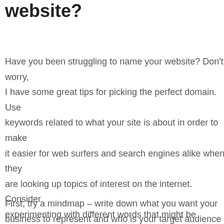website?
Have you been struggling to name your website? Don't worry, I have some great tips for picking the perfect domain. Use keywords related to what your site is about in order to make it easier for web surfers and search engines alike when they are looking up topics of interest on the internet. Consider experimenting with different words that might be relevant or catchy if you want a more unique sounding domain as well! Good luck out there – naming websites can feel like an impossible task at times but hopefully these steps will help get rid of any confusion around this process so keep them handy next time you need something new online!
First, try a mindmap – write down what you want your business to represent and who is your target audience